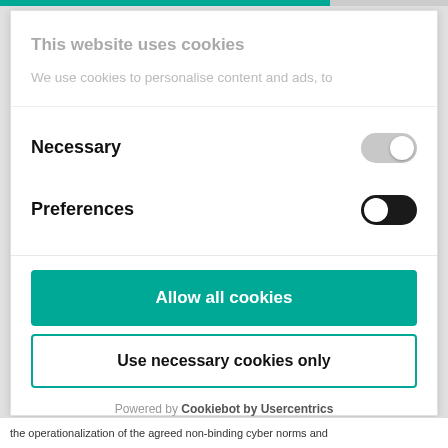This website uses cookies
We use cookies to personalise content and ads, to
Necessary
Preferences
Allow all cookies
Use necessary cookies only
Powered by Cookiebot by Usercentrics
the operationalization of the agreed non-binding cyber norms and